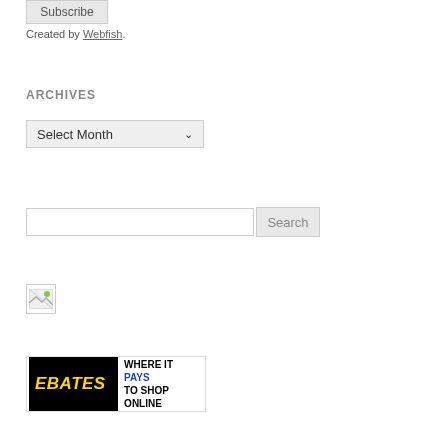Subscribe
Created by Webfish.
ARCHIVES
Select Month
Search
[Figure (photo): Broken image icon]
[Figure (logo): Ebates banner: WHERE IT PAYS TO SHOP ONLINE]